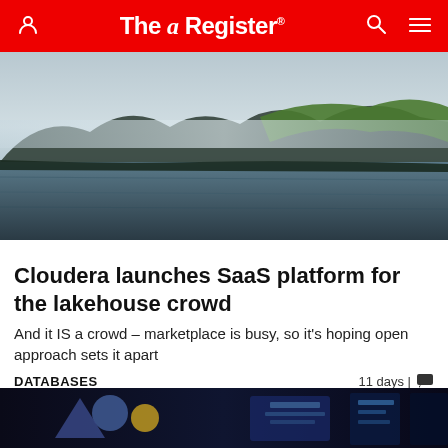The Register
[Figure (photo): Scenic lake with misty mountains and forest reflections on calm water]
Cloudera launches SaaS platform for the lakehouse crowd
And it IS a crowd – marketplace is busy, so it's hoping open approach sets it apart
DATABASES   11 days | 💬
[Figure (photo): Dark technology background with blurred screen displays and glowing UI elements]